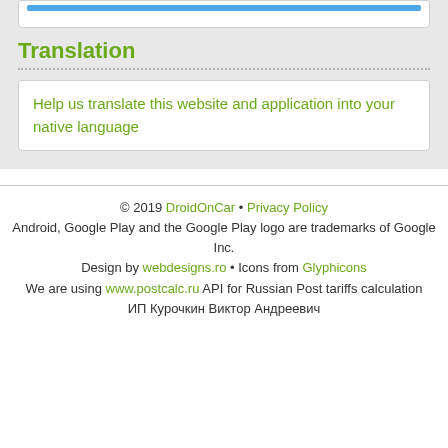[Figure (other): Blue button/bar at top of page inside a white card]
Translation
Help us translate this website and application into your native language
© 2019 DroidOnCar • Privacy Policy
Android, Google Play and the Google Play logo are trademarks of Google Inc.
Design by webdesigns.ro • Icons from Glyphicons
We are using www.postcalc.ru API for Russian Post tariffs calculation
ИП Курочкин Виктор Андреевич